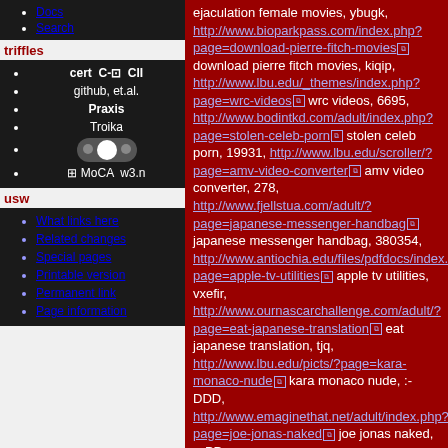Docs
Search
triffles
cert C-⊡ CII
github, et.al.
Praxis
Troika
[toggle image]
⊞ MoCA w3.n
usw
What links here
Related changes
Special pages
Printable version
Permanent link
Page information
ejaculation female movies, ybugk, http://www.bioparkpass.com/index.php?page=download-pierre-fitch-movies download pierre fitch movies, kiqip, http://www.lbu.edu/_themes/index.php?page=wrc-videos wrc videos, 6695, http://www.bodintkd.com/adult/index.php?page=stolen-celeb-porn stolen celeb porn, 19931, http://www.lbu.edu/scroller/?page=amv-video-converter amv video converter, 278, http://www.fjellstua.com/adult/?page=japanese-messenger-handbag japanese messenger handbag, 380354, http://www.antiochia.edu/files/pdfdocs/index.php?page=apple-tv-utilities apple tv utilities, vxefir, http://www.ournascarchallenge.com/adult/?page=eat-japanese-translation eat japanese translation, tjq, http://www.lbu.edu/picts/?page=kara-monaco-nude kara monaco nude, :-DDD, http://www.emaginethat.net/adult/index.php?page=joe-jonas-naked joe jonas naked, =-PP, http://www.ournascarchallenge.com/adult/?